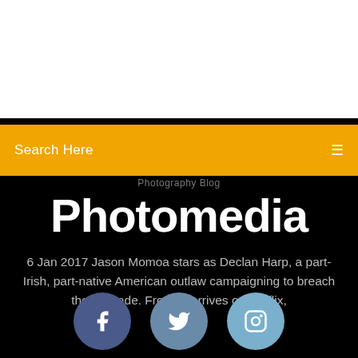[Figure (screenshot): White top section of a webpage]
Search Here
Photomedia
6 Jan 2017 Jason Momoa stars as Declan Harp, a part-Irish, part-native American outlaw campaigning to breach the fur trade. Frontier arrives on Netflix,
[Figure (illustration): Social media icons: Facebook, Twitter, Instagram]